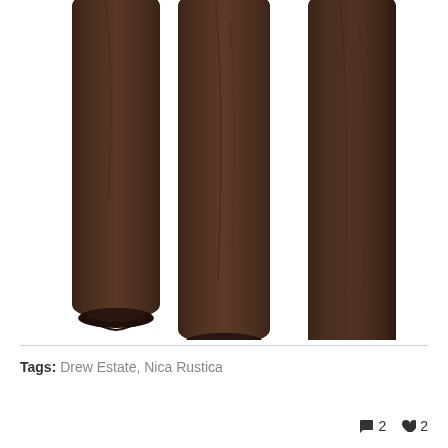[Figure (photo): Three dark brown cigars standing vertically side by side against a white background, showing the foot (cut end) of each cigar at the bottom. The cigars have a dark maduro wrapper with visible leaf veins and texture.]
Tags: Drew Estate, Nica Rustica
2 comments, 2 likes